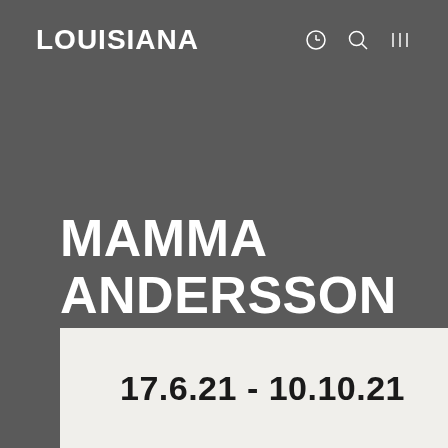LOUISIANA
MAMMA ANDERSSON
17.6.21 - 10.10.21